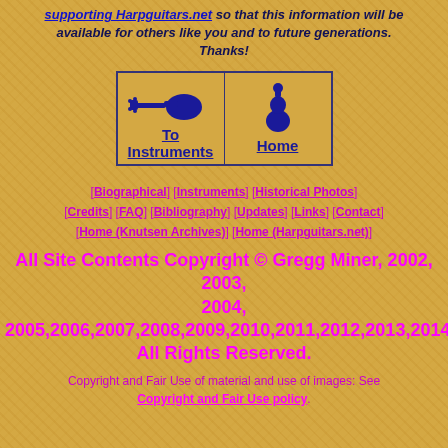supporting Harpguitars.net so that this information will be available for others like you and to future generations. Thanks!
[Figure (other): Navigation table with two cells: left cell has guitar silhouette icon with 'To Instruments' link, right cell has harp-guitar silhouette icon with 'Home' link]
[Biographical] [Instruments] [Historical Photos] [Credits] [FAQ] [Bibliography] [Updates] [Links] [Contact] [Home (Knutsen Archives)] [Home (Harpguitars.net)]
All Site Contents Copyright © Gregg Miner, 2002, 2003, 2004, 2005,2006,2007,2008,2009,2010,2011,2012,2013,2014,2015 All Rights Reserved.
Copyright and Fair Use of material and use of images: See Copyright and Fair Use policy.